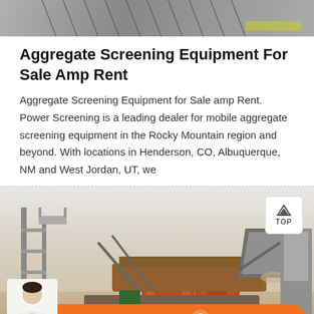[Figure (photo): Top portion of a photo showing cables or wires on a surface, cropped]
Aggregate Screening Equipment For Sale Amp Rent
Aggregate Screening Equipment for Sale amp Rent. Power Screening is a leading dealer for mobile aggregate screening equipment in the Rocky Mountain region and beyond. With locations in Henderson, CO, Albuquerque, NM and West Jordan, UT, we
[Figure (photo): Photo of aggregate screening and crushing equipment at an industrial site, with orange/rust colored machinery, conveyors, and structures. A 'TOP' button is overlaid in the upper right. A chat bar with Message and Online Chat buttons appears at the bottom, with a customer service person icon on the left.]